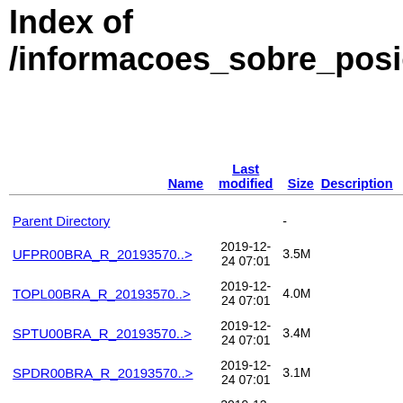Index of /informacoes_sobre_posicioname...
| Name | Last modified | Size | Description |
| --- | --- | --- | --- |
| Parent Directory |  | - |  |
| UFPR00BRA_R_20193570..> | 2019-12-24 07:01 | 3.5M |  |
| TOPL00BRA_R_20193570..> | 2019-12-24 07:01 | 4.0M |  |
| SPTU00BRA_R_20193570..> | 2019-12-24 07:01 | 3.4M |  |
| SPDR00BRA_R_20193570..> | 2019-12-24 07:01 | 3.1M |  |
| SPC100BRA_R_20193570..> | 2019-12-24 07:01 | 3.7M |  |
| SPBO00BRA_R_20193570..> | 2019-12-26 11:29 | 3.1M |  |
| SPAR00BRA_R_20193570..> | 2019-12-... | 3.4M |  |